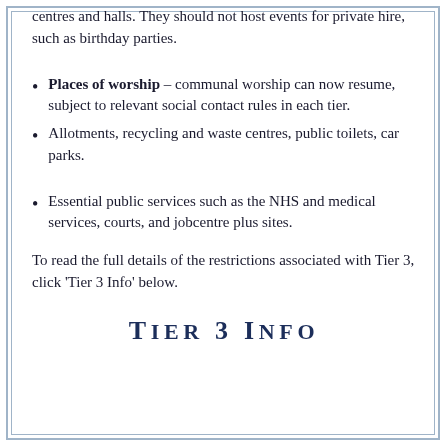centres and halls. They should not host events for private hire, such as birthday parties.
Places of worship – communal worship can now resume, subject to relevant social contact rules in each tier.
Allotments, recycling and waste centres, public toilets, car parks.
Essential public services such as the NHS and medical services, courts, and jobcentre plus sites.
To read the full details of the restrictions associated with Tier 3, click 'Tier 3 Info' below.
Tier 3 Info